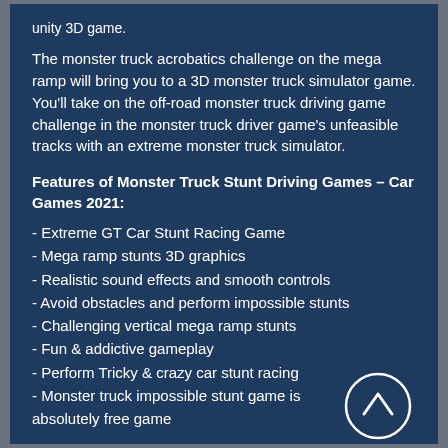unity 3D game.
The monster truck acrobatics challenge on the mega ramp will bring you to a 3D monster truck simulator game. You'll take on the off-road monster truck driving game challenge in the monster truck driver game's unfeasible tracks with an extreme monster truck simulator.
Features of Monster Truck Stunt Driving Games – Car Games 2021:
- Extreme GT Car Stunt Racing Game
- Mega ramp stunts 3D graphics
- Realistic sound effects and smooth controls
- Avoid obstacles and perform impossible stunts
- Challenging vertical mega ramp stunts
- Fun & addictive gameplay
- Perform Tricky & crazy car stunt racing
- Monster truck impossible stunt game is absolutely free game